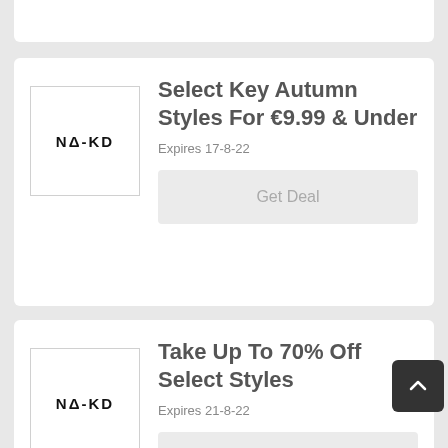[Figure (logo): NA-KD brand logo in a bordered square box]
Select Key Autumn Styles For €9.99 & Under
Expires 17-8-22
Get Deal
[Figure (logo): NA-KD brand logo in a bordered square box]
Take Up To 70% Off Select Styles
Expires 21-8-22
Get Deal